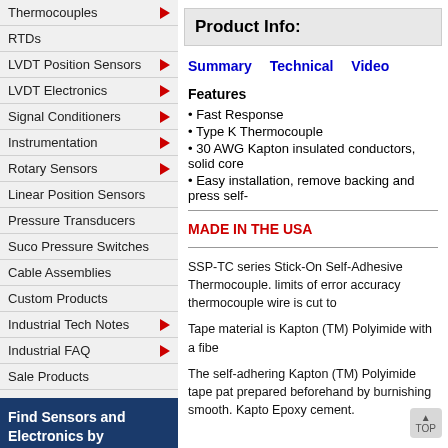Thermocouples
RTDs
LVDT Position Sensors
LVDT Electronics
Signal Conditioners
Instrumentation
Rotary Sensors
Linear Position Sensors
Pressure Transducers
Suco Pressure Switches
Cable Assemblies
Custom Products
Industrial Tech Notes
Industrial FAQ
Sale Products
Find Sensors and Electronics by Application
Motorsports
Industrial
Product Info:
Summary   Technical   Video
Features
Fast Response
Type K Thermocouple
30 AWG Kapton insulated conductors, solid core
Easy installation, remove backing and press self-
MADE IN THE USA
SSP-TC series Stick-On Self-Adhesive Thermocouple. limits of error accuracy thermocouple wire is cut to
Tape material is Kapton (TM) Polyimide with a fibe
The self-adhering Kapton (TM) Polyimide tape pat prepared beforehand by burnishing smooth. Kapto Epoxy cement.